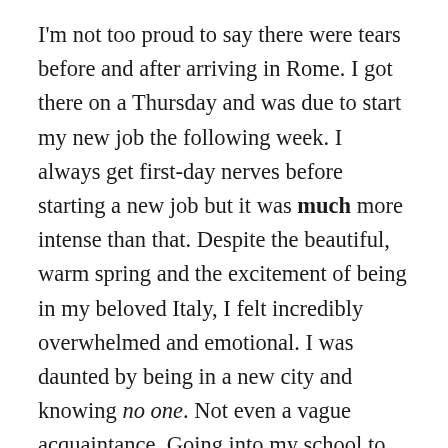I'm not too proud to say there were tears before and after arriving in Rome. I got there on a Thursday and was due to start my new job the following week. I always get first-day nerves before starting a new job but it was much more intense than that. Despite the beautiful, warm spring and the excitement of being in my beloved Italy, I felt incredibly overwhelmed and emotional. I was daunted by being in a new city and knowing no one. Not even a vague acquaintance. Going into my school to prepare and meet my new colleagues kept me occupied during the Friday, but my first two evenings were spent at home. Skyping my loved ones and